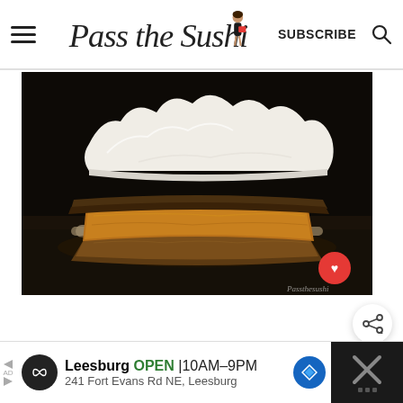Pass the Sushi — SUBSCRIBE
[Figure (photo): A slice of pumpkin pie with whipped cream topping on a dark plate with a fork, shot on dark background]
[Figure (illustration): Share button icon (circle with share symbol)]
WHAT'S NEXT → Zucchini Whoopie Pies
[Figure (photo): Advertisement banner: Leesburg OPEN 10AM-9PM 241 Fort Evans Rd NE, Leesburg]